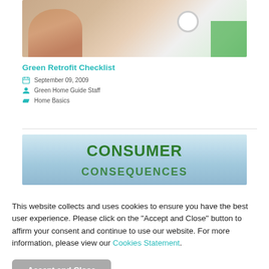[Figure (photo): Close-up photo of a hand/finger pressing a button or thermostat, with white circular element and green corner visible]
Green Retrofit Checklist
September 09, 2009
Green Home Guide Staff
Home Basics
[Figure (photo): Banner image showing the text CONSUMER CONSEQUENCES in bold dark green on a light blue/white gradient background]
This website collects and uses cookies to ensure you have the best user experience. Please click on the "Accept and Close" button to affirm your consent and continue to use our website. For more information, please view our Cookies Statement.
Accept and Close